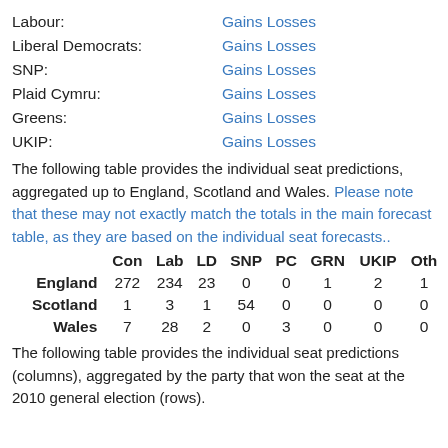Labour: Gains Losses
Liberal Democrats: Gains Losses
SNP: Gains Losses
Plaid Cymru: Gains Losses
Greens: Gains Losses
UKIP: Gains Losses
The following table provides the individual seat predictions, aggregated up to England, Scotland and Wales. Please note that these may not exactly match the totals in the main forecast table, as they are based on the individual seat forecasts..
|  | Con | Lab | LD | SNP | PC | GRN | UKIP | Oth |
| --- | --- | --- | --- | --- | --- | --- | --- | --- |
| England | 272 | 234 | 23 | 0 | 0 | 1 | 2 | 1 |
| Scotland | 1 | 3 | 1 | 54 | 0 | 0 | 0 | 0 |
| Wales | 7 | 28 | 2 | 0 | 3 | 0 | 0 | 0 |
The following table provides the individual seat predictions (columns), aggregated by the party that won the seat at the 2010 general election (rows).